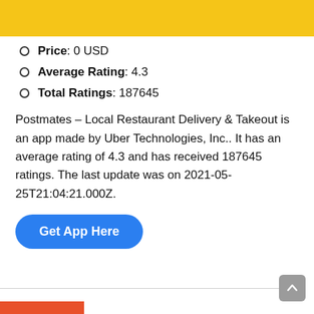[Figure (other): Yellow header banner at top of page]
Price: 0 USD
Average Rating: 4.3
Total Ratings: 187645
Postmates – Local Restaurant Delivery & Takeout is an app made by Uber Technologies, Inc.. It has an average rating of 4.3 and has received 187645 ratings. The last update was on 2021-05-25T21:04:21.000Z.
[Figure (other): Blue rounded button labeled Get App Here]
[Figure (other): Orange bar at bottom left]